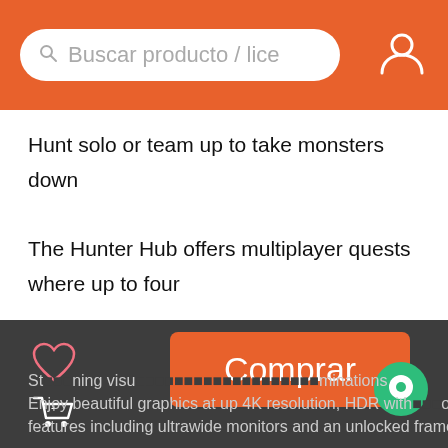Buscar producto / lice
Hunt solo or team up to take monsters down

The Hunter Hub offers multiplayer quests where up to four players can team up to take on targets together. Difficulty scaling ensures that whether you go solo or hit the hunt as a full four-person squad, it's always a fair fight.
[Figure (screenshot): Dark bottom panel with heart icon, cart icon, orange Comprar (Buy) button, and chat bubble icon, with partial text about stunning visuals and beautiful graphics at up 4K resolution, HDR with features including ultrawide monitors and an unlocked frame rate]
Comprar